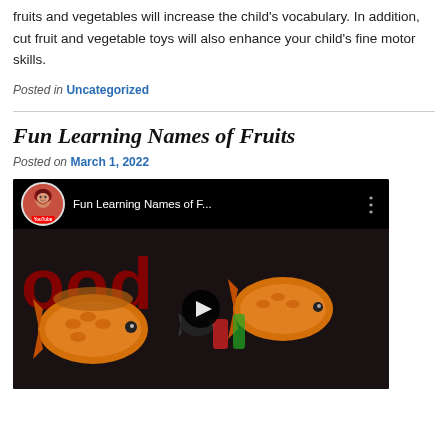fruits and vegetables will increase the child's vocabulary. In addition, cut fruit and vegetable toys will also enhance your child's fine motor skills.
Posted in Uncategorized
Fun Learning Names of Fruits
Posted on March 1, 2022
[Figure (screenshot): YouTube video thumbnail showing 'Fun Learning Names of F...' with a channel avatar of a child wearing hijab, a black top bar with video title and three-dot menu, and a video frame showing large red 'ood' text over orange fish toys on dark background with a play button in the center.]